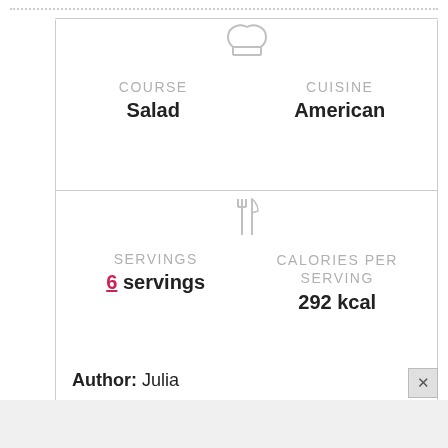COURSE
Salad
CUISINE
American
SERVINGS
6 servings
CALORIES PER SERVING
292 kcal
Author: Julia